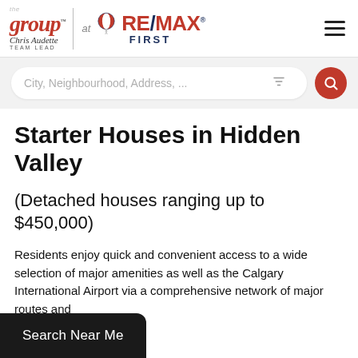[Figure (logo): The Group at RE/MAX FIRST logo with Chris Audette Team Lead branding]
Starter Houses in Hidden Valley
(Detached houses ranging up to $450,000)
Residents enjoy quick and convenient access to a wide selection of major amenities as well as the Calgary International Airport via a comprehensive network of major routes and
Search Near Me